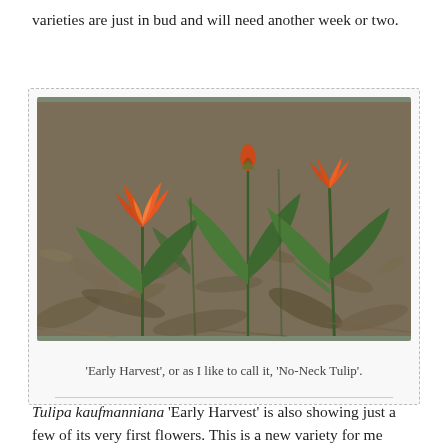varieties are just in bud and will need another week or two.
[Figure (photo): Photo of Tulipa kaufmanniana 'Early Harvest' tulips just opening, showing orange buds emerging from green leaves among dry leaf mulch on the ground.]
‘Early Harvest’, or as I like to call it, ‘No-Neck Tulip’.
Tulipa kaufmanniana ‘Early Harvest’ is also showing just a few of its very first flowers. This is a new variety for me